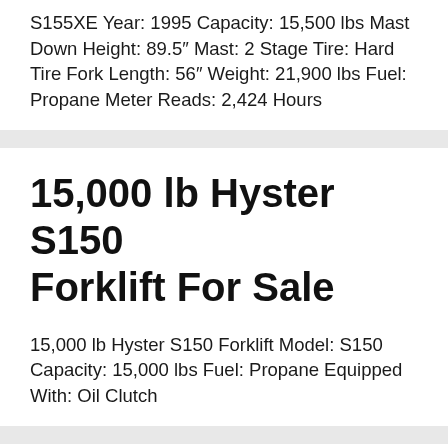S155XE Year: 1995 Capacity: 15,500 lbs Mast Down Height: 89.5″ Mast: 2 Stage Tire: Hard Tire Fork Length: 56″ Weight: 21,900 lbs Fuel: Propane Meter Reads: 2,424 Hours
15,000 lb Hyster S150 Forklift For Sale
15,000 lb Hyster S150 Forklift Model: S150 Capacity: 15,000 lbs Fuel: Propane Equipped With: Oil Clutch
19,000lb Lowry Forklift For